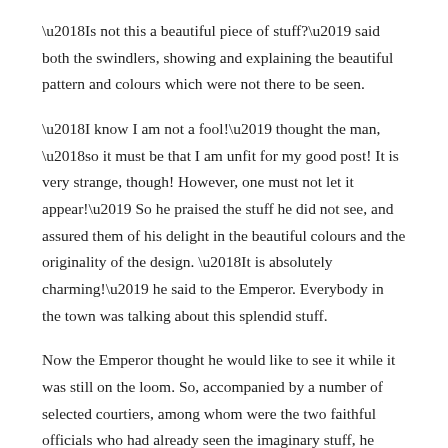‘Is not this a beautiful piece of stuff?’ said both the swindlers, showing and explaining the beautiful pattern and colours which were not there to be seen.
‘I know I am not a fool!’ thought the man, ‘so it must be that I am unfit for my good post! It is very strange, though! However, one must not let it appear!’ So he praised the stuff he did not see, and assured them of his delight in the beautiful colours and the originality of the design. ‘It is absolutely charming!’ he said to the Emperor. Everybody in the town was talking about this splendid stuff.
Now the Emperor thought he would like to see it while it was still on the loom. So, accompanied by a number of selected courtiers, among whom were the two faithful officials who had already seen the imaginary stuff, he went to visit the crafty impostors, who were working away as hard as ever they could at the empty loom.